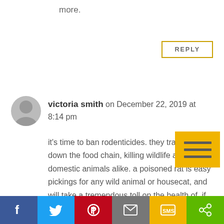more.
REPLY
victoria smith on December 22, 2019 at 8:14 pm
it's time to ban rodenticides. they travel far down the food chain, killing wildlife and domestic animals alike. a poisoned rat is easy pickings for any wild animal or housecat, and will take a tremendous toll on the health of, if not outright kill the animal preying on them.
[Figure (infographic): Social sharing bar with Facebook, Twitter, Pinterest, Email, SMS, and Share buttons]